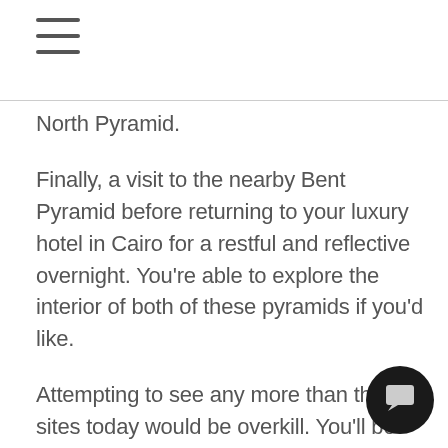☰
North Pyramid.
Finally, a visit to the nearby Bent Pyramid before returning to your luxury hotel in Cairo for a restful and reflective overnight. You're able to explore the interior of both of these pyramids if you'd like.
Attempting to see any more than these sites today would be overkill. You'll be exhausted, and let's not forget sight fact that apart from this journey being great exploration, it is also your vacation